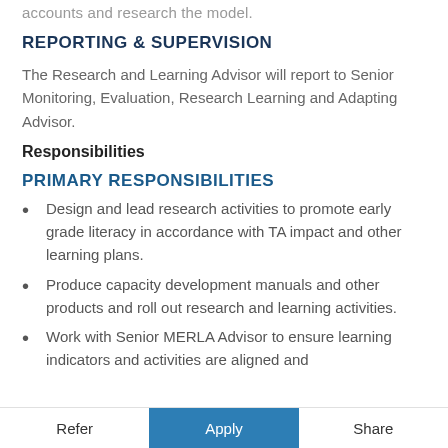accounts and research the model.
REPORTING & SUPERVISION
The Research and Learning Advisor will report to Senior Monitoring, Evaluation, Research Learning and Adapting Advisor.
Responsibilities
PRIMARY RESPONSIBILITIES
Design and lead research activities to promote early grade literacy in accordance with TA impact and other learning plans.
Produce capacity development manuals and other products and roll out research and learning activities.
Work with Senior MERLA Advisor to ensure learning indicators and activities are aligned and
Refer   Apply   Share